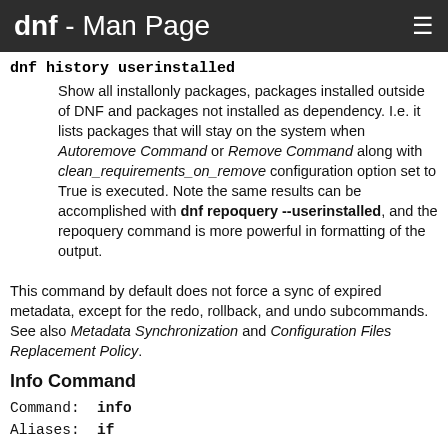dnf - Man Page
dnf history userinstalled
Show all installonly packages, packages installed outside of DNF and packages not installed as dependency. I.e. it lists packages that will stay on the system when Autoremove Command or Remove Command along with clean_requirements_on_remove configuration option set to True is executed. Note the same results can be accomplished with dnf repoquery --userinstalled, and the repoquery command is more powerful in formatting of the output.
This command by default does not force a sync of expired metadata, except for the redo, rollback, and undo subcommands. See also Metadata Synchronization and Configuration Files Replacement Policy.
Info Command
Command:  info
Aliases:  if